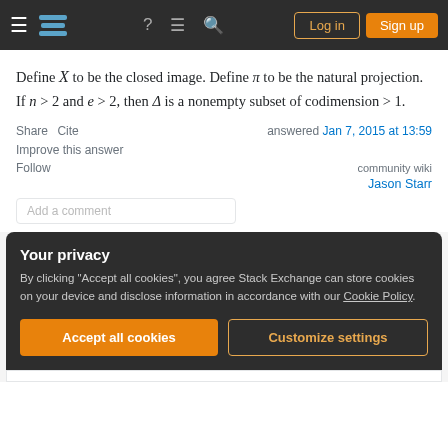Stack Exchange navigation bar with Log in and Sign up buttons
Define X to be the closed image. Define π to be the natural projection. If n > 2 and e > 2, then Δ is a nonempty subset of codimension > 1.
Share   Cite      answered Jan 7, 2015 at 13:59
Improve this answer
Follow
community wiki
Jason Starr
Add a comment
Your privacy
By clicking "Accept all cookies", you agree Stack Exchange can store cookies on your device and disclose information in accordance with our Cookie Policy.
Accept all cookies   Customize settings